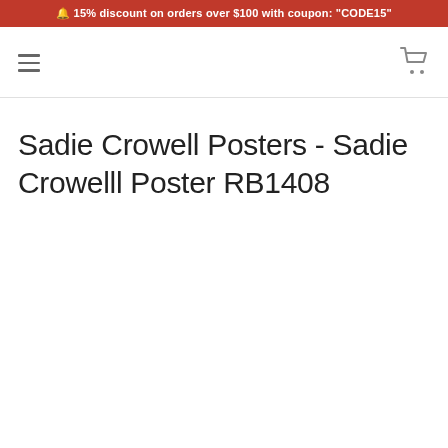🔔 15% discount on orders over $100 with coupon: "CODE15"
Sadie Crowell Posters - Sadie Crowelll Poster RB1408